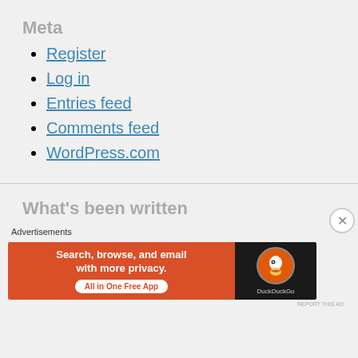Meta
Register
Log in
Entries feed
Comments feed
WordPress.com
What's been written
Advertisements
[Figure (infographic): DuckDuckGo advertisement banner: 'Search, browse, and email with more privacy. All in One Free App' with DuckDuckGo logo on dark background]